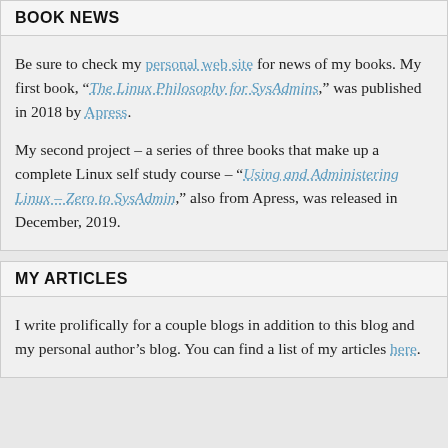BOOK NEWS
Be sure to check my personal web site for news of my books. My first book, “The Linux Philosophy for SysAdmins,” was published in 2018 by Apress. My second project – a series of three books that make up a complete Linux self study course – “Using and Administering Linux – Zero to SysAdmin,” also from Apress, was released in December, 2019.
MY ARTICLES
I write prolifically for a couple blogs in addition to this blog and my personal author’s blog. You can find a list of my articles here.